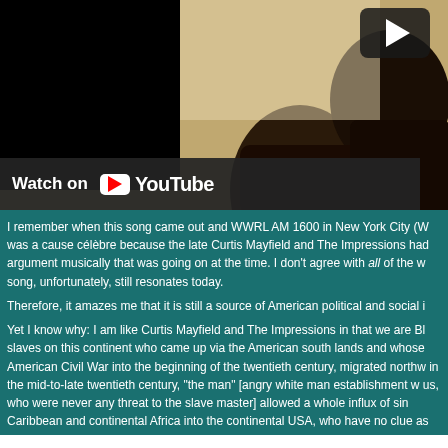[Figure (photo): Sepia-toned vintage photograph of two Black men, partially obscured by a black panel on the left. A YouTube overlay bar at the bottom reads 'Watch on YouTube' with the YouTube logo. A play button icon is visible in the upper right of the video thumbnail.]
I remember when this song came out and WWRL AM 1600 in New York City (W was a cause célèbre because the late Curtis Mayfield and The Impressions had argument musically that was going on at the time. I don't agree with all of the w song, unfortunately, still resonates today.
Therefore, it amazes me that it is still a source of American political and social i
Yet I know why: I am like Curtis Mayfield and The Impressions in that we are Bl slaves on this continent who came up via the American south lands and whose American Civil War into the beginning of the twentieth century, migrated northw in the mid-to-late twentieth century, "the man" [angry white man establishment w us, who were never any threat to the slave master] allowed a whole influx of sin Caribbean and continental Africa into the continental USA, who have no clue as